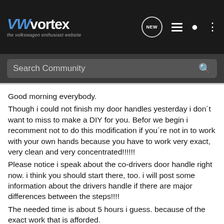VWvortex the volkswagen enthusiast website
Search Community
Good morning everybody.
Though i could not finish my door handles yesterday i don´t want to miss to make a DIY for you. Befor we begin i recomment not to do this modification if you´re not in to work with your own hands because you have to work very exact, very clean and very concentrated!!!!!!
Please notice i speak about the co-drivers door handle right now. i think you should start there, too. i will post some information about the drivers handle if there are major differences between the steps!!!!
The needed time is about 5 hours i guess. because of the exact work that is afforded.
About the tools you`ll need
- tape
- screwdrivers to remove the doorpanels